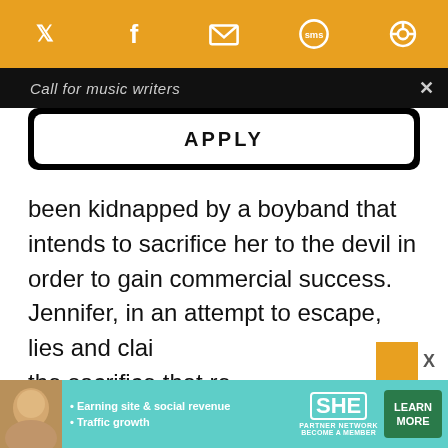[Figure (screenshot): Orange social sharing toolbar with Twitter, Facebook, email, SMS, and feed icons in white on orange background]
Call for music writers
APPLY
been kidnapped by a boyband that intends to sacrifice her to the devil in order to gain commercial success. Jennifer, in an attempt to escape, lies and clai the sacrifice that re incomplete. She cor men who try to hav "nourishment", she becomes sickly and corpse-like, even vomiting ectoplasm in the film's m
[Figure (infographic): SHE Partner Network advertisement banner with teal background, woman photo, bullet points: Earning site & social revenue, Traffic growth, SHE logo, LEARN MORE button]